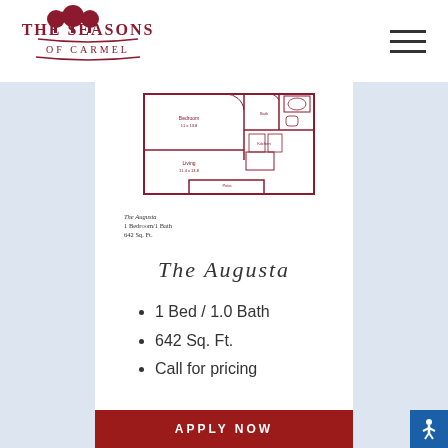[Figure (logo): The Seasons of Carmel logo with decorative tree icons and text]
[Figure (engineering-diagram): Floor plan of The Augusta apartment unit showing 1 bedroom, bathroom, living area, kitchen, and patio layout]
The Augusta
1 Bedroom/1 Bath
642 Sq. Ft.
The Augusta
1 Bed / 1.0 Bath
642 Sq. Ft.
Call for pricing
APPLY NOW